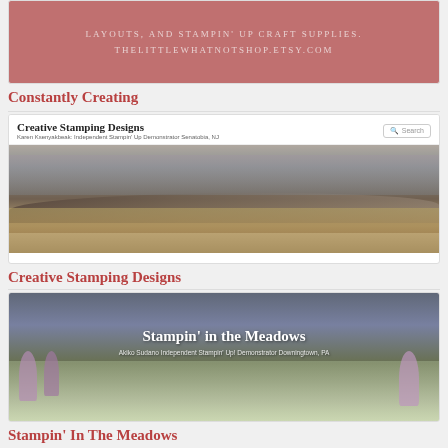[Figure (screenshot): Banner image for thelittlewhatnotshop.etsy.com showing text about layouts and Stampin Up craft supplies on pink background]
Constantly Creating
[Figure (screenshot): Screenshot of Creative Stamping Designs blog by Karen Ksenyakbeak, Independent Stampin Up Demonstrator Senatobia, NJ with beach/ocean header photo]
Creative Stamping Designs
[Figure (screenshot): Banner image for Stampin in the Meadows blog by Akiko Sudano Independent Stampin Up Demonstrator Downingtown, PA with wildflowers photo]
Stampin' In The Meadows